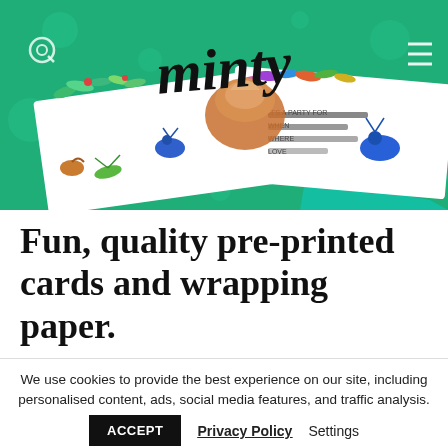[Figure (photo): Hero photograph showing colorful party invitation cards with floral and bug illustrations laid on a green polka-dot table with party decorations. A handwritten-style 'minty' logo is overlaid at the top center in black script.]
Fun, quality pre-printed cards and wrapping paper.
We use cookies to provide the best experience on our site, including personalised content, ads, social media features, and traffic analysis. ACCEPT  Privacy Policy  Settings